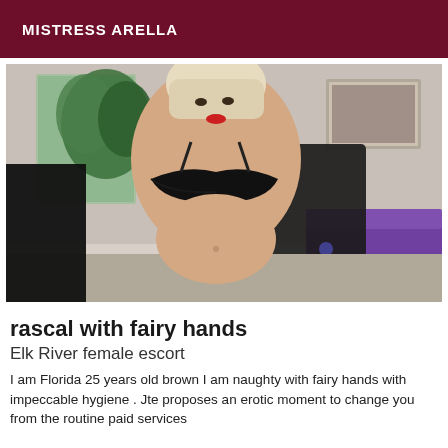MISTRESS ARELLA
[Figure (photo): Young woman in black lingerie posing indoors]
rascal with fairy hands
Elk River female escort
I am Florida 25 years old brown I am naughty with fairy hands with impeccable hygiene . Jte proposes an erotic moment to change you from the routine paid services